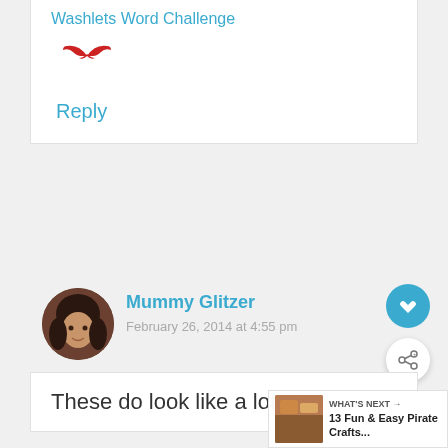Washlets Word Challenge
[Figure (illustration): Red decorative wings/mustache icon]
Reply
Mummy Glitzer
February 26, 2014 at 4:55 pm
[Figure (photo): Circular avatar photo of a woman with dark hair]
These do look like a lot ot